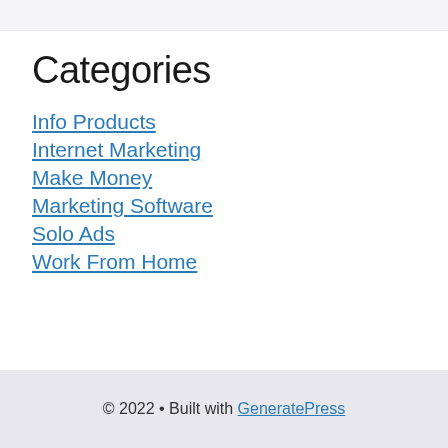Categories
Info Products
Internet Marketing
Make Money
Marketing Software
Solo Ads
Work From Home
© 2022 • Built with GeneratePress